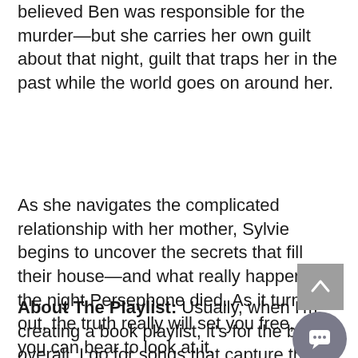believed Ben was responsible for the murder—but she carries her own guilt about that night, guilt that traps her in the past while the world goes on around her.
As she navigates the complicated relationship with her mother, Sylvie begins to uncover the secrets that fill their house—and what really happened the night Persephone died. As it turns out, the truth really will set you free, once you can bear to look at it.
About The Playlist: Usually, when I'm creating a book playlist, it's for the book overall. I go for songs that capture the vibe of the whole book more than specific moments. I think it's